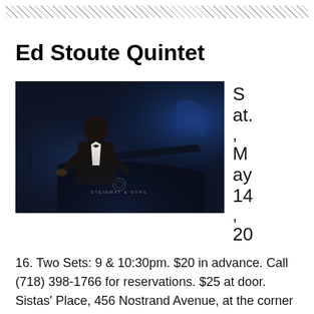Ed Stoute Quintet
[Figure (photo): A man (Ed Stoute) seated at a Steinway & Sons grand piano on a dark stage with blue lighting, wearing a dark suit.]
Sat., May 14, 20
16. Two Sets: 9 & 10:30pm. $20 in advance. Call (718) 398-1766 for reservations. $25 at door. Sistas' Place, 456 Nostrand Avenue, at the corner of Jefferson Avenue, Brooklyn, NY